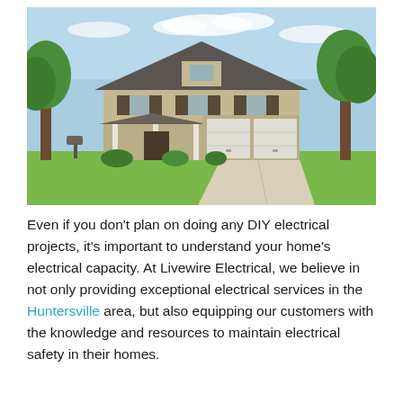[Figure (photo): Exterior photo of a two-story suburban house with beige/tan siding, dark shutters, white garage doors, a covered front porch, green trees, a mailbox, and a concrete driveway, under a partly cloudy blue sky.]
Even if you don't plan on doing any DIY electrical projects, it's important to understand your home's electrical capacity. At Livewire Electrical, we believe in not only providing exceptional electrical services in the Huntersville area, but also equipping our customers with the knowledge and resources to maintain electrical safety in their homes.